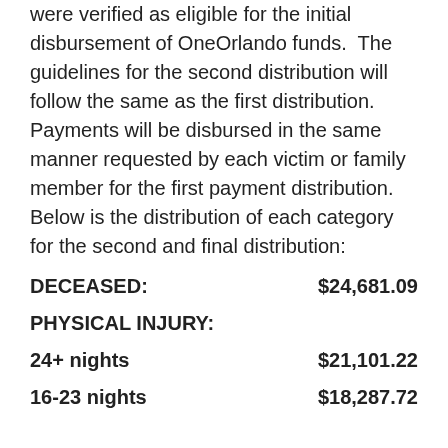were verified as eligible for the initial disbursement of OneOrlando funds. The guidelines for the second distribution will follow the same as the first distribution. Payments will be disbursed in the same manner requested by each victim or family member for the first payment distribution. Below is the distribution of each category for the second and final distribution:
DECEASED: $24,681.09
PHYSICAL INJURY:
24+ nights $21,101.22
16-23 nights $18,287.72